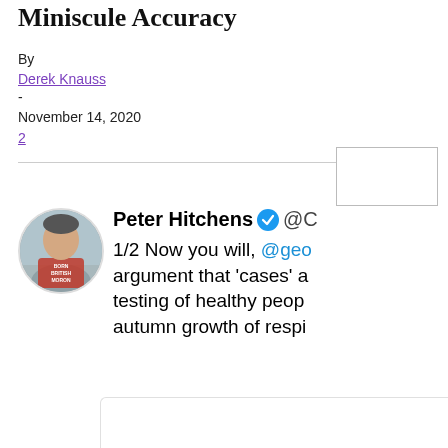Miniscule Accuracy
By
Derek Knauss
-
November 14, 2020
2
[Figure (screenshot): A cropped screenshot of a tweet by Peter Hitchens with verified blue checkmark and handle @C, showing text: '1/2 Now you will, @geo argument that cases a testing of healthy peop autumn growth of respi']